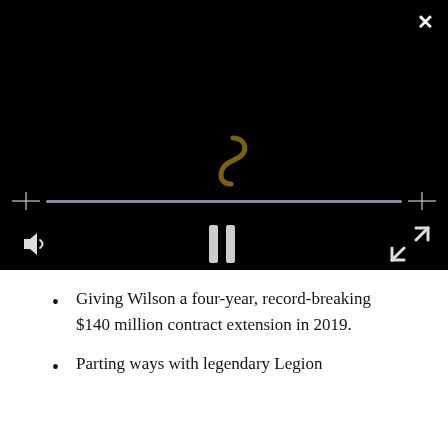[Figure (screenshot): Video player with black background, an S-shaped logo/graphic in dark gold/olive color at center, a progress bar across the middle, and playback controls at bottom (volume icon, pause button, fullscreen icon). A white X close button is visible in the top-right corner.]
Giving Wilson a four-year, record-breaking $140 million contract extension in 2019.
Parting ways with legendary Legion